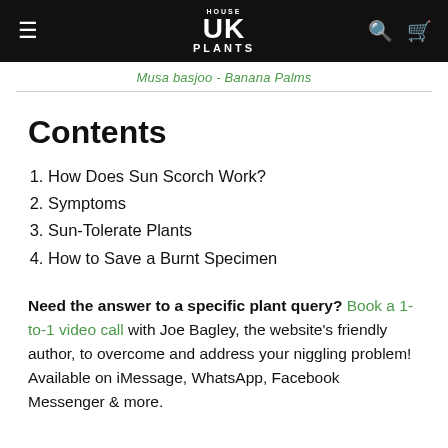HOUSE UK PLANTS
Musa basjoo - Banana Palms
Contents
1. How Does Sun Scorch Work?
2. Symptoms
3. Sun-Tolerate Plants
4. How to Save a Burnt Specimen
Need the answer to a specific plant query? Book a 1-to-1 video call with Joe Bagley, the website's friendly author, to overcome and address your niggling problem! Available on iMessage, WhatsApp, Facebook Messenger & more.